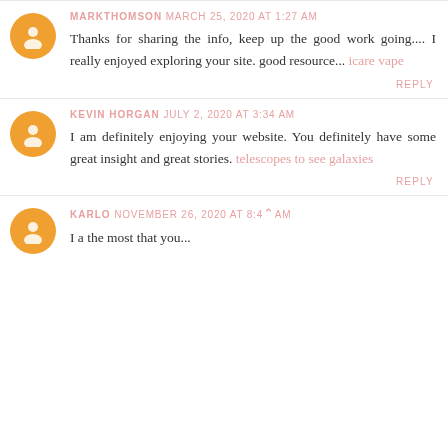MARKTHOMSON MARCH 25, 2020 AT 1:27 AM
Thanks for sharing the info, keep up the good work going.... I really enjoyed exploring your site. good resource... icare vape
REPLY
KEVIN HORGAN JULY 2, 2020 AT 3:34 AM
I am definitely enjoying your website. You definitely have some great insight and great stories. telescopes to see galaxies
REPLY
KARLO NOVEMBER 26, 2020 AT 8:44 AM
I a the most that you...